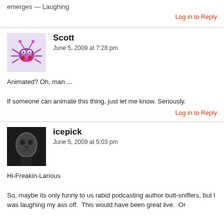emerges — Laughing
Log in to Reply
Scott
June 5, 2009 at 7:28 pm
Animated? Oh, man ...

If someone can animate this thing, just let me know. Seriously.
Log in to Reply
icepick
June 5, 2009 at 5:03 pm
Hi-Freakin-Larious

So, maybe its only funny to us rabid podcasting author butt-sniffers, but I was laughing my ass off.  This would have been great live.  Or